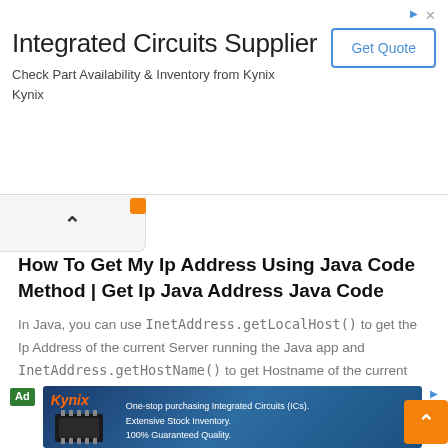[Figure (infographic): Top advertisement banner for Kynix Integrated Circuits Supplier with Get Quote button]
How To Get My Ip Address Using Java Code Method | Get Ip Java Address Java Code
In Java, you can use InetAddress.getLocalHost() to get the Ip Address of the current Server running the Java app and InetAddress.getHostName() to get Hostname of the current Server name. On the face of…
February 7, 2022  - by : Technicalyarana_admin  🗨 1
[Figure (infographic): Bottom Kynix advertisement banner showing integrated circuit chip image with text: One-stop purchasing Integrated Circuits (ICs). Extensive Stock Inventory. 100% Guaranteed Quality.]